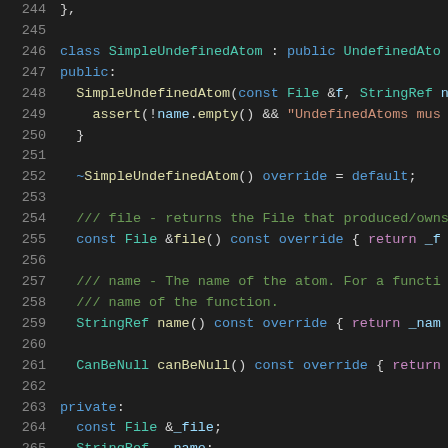Source code listing, lines 244-265, C++ class SimpleUndefinedAtom